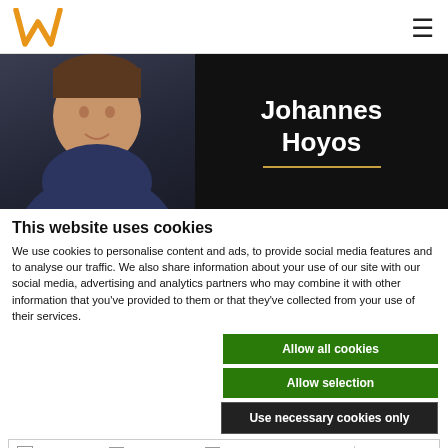[Figure (logo): Orange W crown logo]
[Figure (photo): Hero banner with person photo on left, text 'Johannes Hoyos' on dark background on right]
This website uses cookies
We use cookies to personalise content and ads, to provide social media features and to analyse our traffic. We also share information about your use of our site with our social media, advertising and analytics partners who may combine it with other information that you've provided to them or that they've collected from your use of their services.
Allow all cookies
Allow selection
Use necessary cookies only
Necessary  Preferences  Statistics  Marketing  Show details